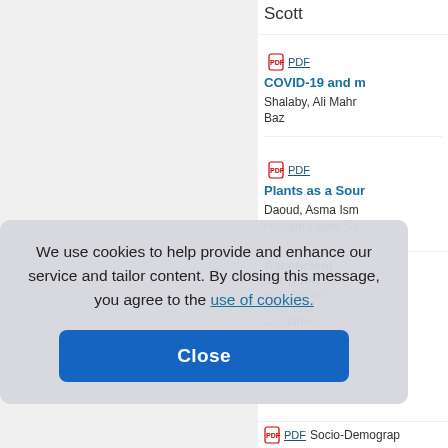Scott
PDF
COVID-19 and m...
Shalaby, Ali Mahr...
Baz
PDF
Plants as a Sour...
Daoud, Asma Ism...
Hisham Odeh, Sa...
Asceticism...
ava Traditi...
volcanic en...
unity to o...
au, James...
PDF
Socio-Demograp...
We use cookies to help provide and enhance our service and tailor content. By closing this message, you agree to the use of cookies.
Close